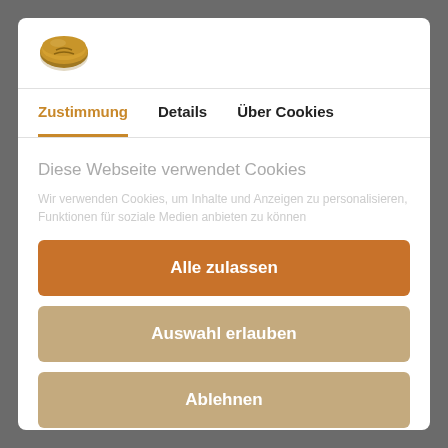[Figure (logo): Cookie/Cookiebot logo icon - stylized cookie shape in brown/orange]
Zustimmung
Details
Über Cookies
Diese Webseite verwendet Cookies
Alle zulassen
Auswahl erlauben
Ablehnen
Powered by Cookiebot by Usercentrics